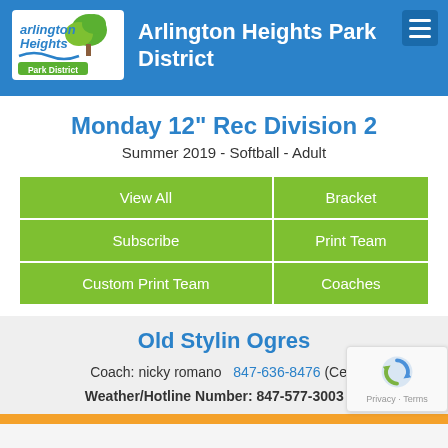Arlington Heights Park District
Monday 12" Rec Division 2
Summer 2019  -  Softball - Adult
| View All | Bracket |
| Subscribe | Print Team |
| Custom Print Team | Coaches |
Old Stylin Ogres
Coach: nicky romano  847-636-8476 (Cell)
Weather/Hotline Number: 847-577-3003 x6